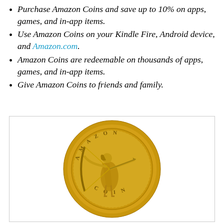Purchase Amazon Coins and save up to 10% on apps, games, and in-app items.
Use Amazon Coins on your Kindle Fire, Android device, and Amazon.com.
Amazon Coins are redeemable on thousands of apps, games, and in-app items.
Give Amazon Coins to friends and family.
[Figure (illustration): An Amazon Coin — a gold-colored coin featuring a female archer drawing a bow, with the text 'AMAZON' engraved along the top arc and 'COIN' along the bottom arc.]